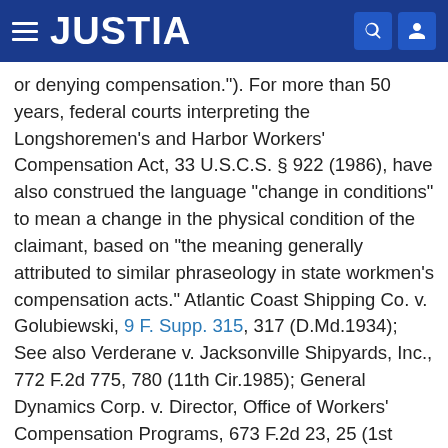JUSTIA
or denying compensation."). For more than 50 years, federal courts interpreting the Longshoremen's and Harbor Workers' Compensation Act, 33 U.S.C.S. § 922 (1986), have also construed the language "change in conditions" to mean a change in the physical condition of the claimant, based on "the meaning generally attributed to similar phraseology in state workmen's compensation acts." Atlantic Coast Shipping Co. v. Golubiewski, 9 F. Supp. 315, 317 (D.Md.1934); See also Verderane v. Jacksonville Shipyards, Inc., 772 F.2d 775, 780 (11th Cir.1985); General Dynamics Corp. v. Director, Office of Workers' Compensation Programs, 673 F.2d 23, 25 (1st Cir.1982); Burley Welding Works, Inc., v. Lawson, 141 F.2d 964, 966 (5th Cir.1944); McCormick S.S. Co. v. United States Employees' Compensation Comm'n, 64 F.2d 84, 86 (9th Cir.1933); Bay Ridge Operating Co. v. Lowe, 14 F. Supp. 280, 281 (S.D.N.Y.1936); but cf